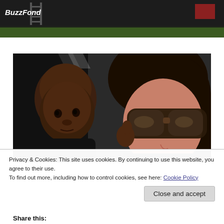[Figure (photo): Top partial image with BuzzFond watermark label over a dark outdoor scene with grass]
[Figure (photo): Close-up photo of a woman wearing large dark sunglasses with long dark hair, holding a young child with short hair, both looking toward camera]
Privacy & Cookies: This site uses cookies. By continuing to use this website, you agree to their use.
To find out more, including how to control cookies, see here: Cookie Policy
Close and accept
Share this: